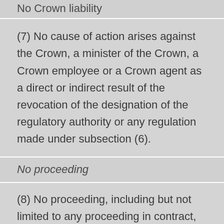No Crown liability
(7) No cause of action arises against the Crown, a minister of the Crown, a Crown employee or a Crown agent as a direct or indirect result of the revocation of the designation of the regulatory authority or any regulation made under subsection (6).
No proceeding
(8) No proceeding, including but not limited to any proceeding in contract, restitution, tort or trust, shall be instituted against the Crown, a minister of the Crown, a Crown employee or a Crown agent by a person who has suffered any damages, injury or other loss based on or related to any cause of action described in